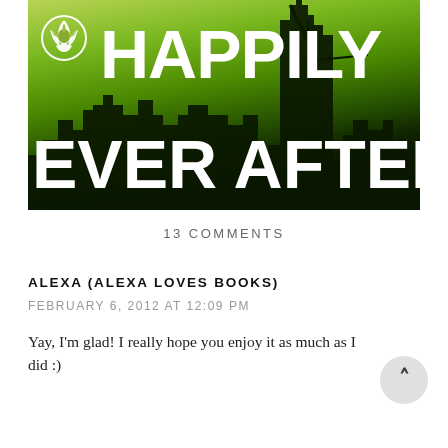[Figure (illustration): Book cover for 'Happily Ever After' showing a green gradient cityscape silhouette with white bold text reading 'HAPPILY EVER AFTER' and a white rose icon in the top left corner]
13 COMMENTS
ALEXA (ALEXA LOVES BOOKS)
FEBRUARY 6, 2012 AT 12:09 PM
Yay, I'm glad! I really hope you enjoy it as much as I did :)